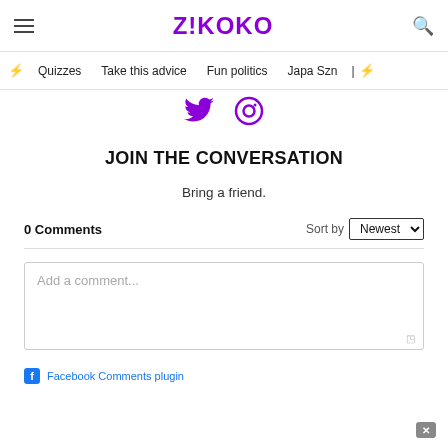Z!KOKO
Quizzes  Take this advice  Fun politics  Japa Szn
[Figure (other): Twitter and Instagram social media icons in purple]
JOIN THE CONVERSATION
Bring a friend.
0 Comments
Sort by Newest
Add a comment...
Facebook Comments plugin